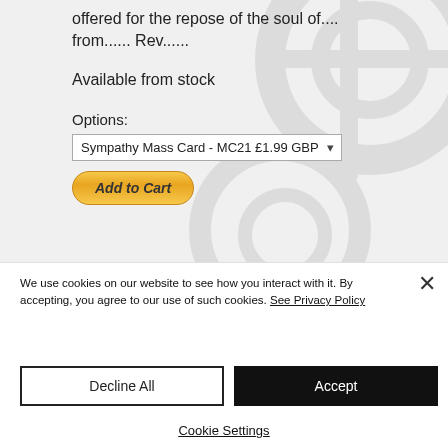offered for the repose of the soul of.... from...... Rev......
Available from stock
Options:
[Figure (screenshot): A dropdown select box showing 'Sympathy Mass Card - MC21 £1.99 GBP' with a chevron arrow on the right]
[Figure (screenshot): An 'Add to Cart' button styled in gold/yellow gradient with rounded corners and italic bold text]
We use cookies on our website to see how you interact with it. By accepting, you agree to our use of such cookies. See Privacy Policy
Decline All
Accept
Cookie Settings